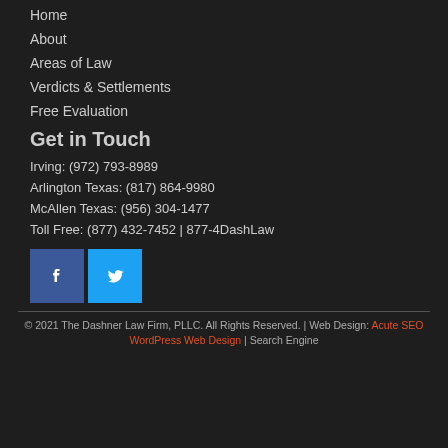Home
About
Areas of Law
Verdicts & Settlements
Free Evaluation
Get in Touch
Irving: (972) 793-8989
Arlington Texas: (817) 864-9980
McAllen Texas: (956) 304-1477
Toll Free: (877) 432-7452 | 877-4DashLaw
[Figure (logo): Facebook and Twitter social media icons]
© 2021 The Dashner Law Firm, PLLC. All Rights Reserved. | Web Design: Acute SEO WordPress Web Design | Search Engine